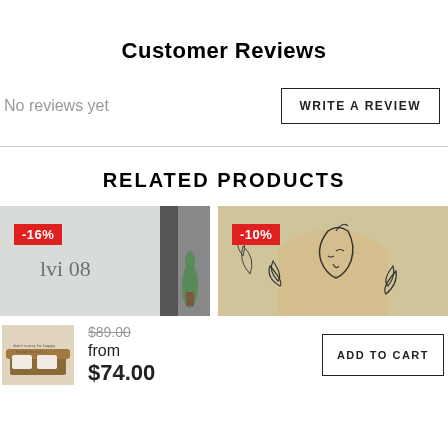Customer Reviews
No reviews yet
WRITE A REVIEW
RELATED PRODUCTS
[Figure (photo): Product photo showing wall text art in a room with a cactus, with a -16% discount badge]
[Figure (photo): Product photo showing decorative face line art on a golden/yellow arched background with leaf art, with a -10% discount badge]
[Figure (photo): Small thumbnail of a bedroom wall sign reading 'don't worry be happy be free be true']
$89.00
from
$74.00
ADD TO CART